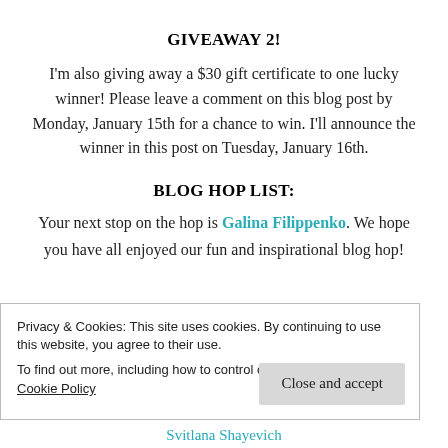GIVEAWAY 2!
I'm also giving away a $30 gift certificate to one lucky winner! Please leave a comment on this blog post by Monday, January 15th for a chance to win. I'll announce the winner in this post on Tuesday, January 16th.
BLOG HOP LIST:
Your next stop on the hop is Galina Filippenko. We hope you have all enjoyed our fun and inspirational blog hop!
Privacy & Cookies: This site uses cookies. By continuing to use this website, you agree to their use.
To find out more, including how to control cookies, see here: Cookie Policy
Close and accept
Svitlana Shayevich